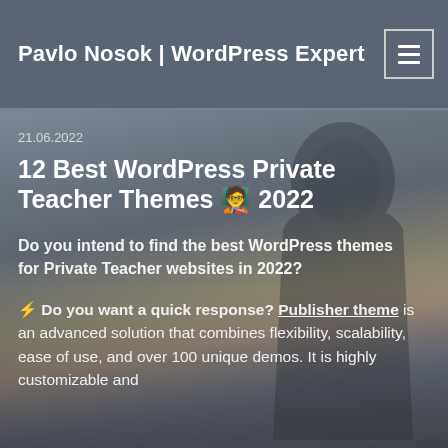Pavlo Nosok | WordPress Expert
21.06.2022
12 Best WordPress Private Teacher Themes 🧑‍🏫 2022
Do you intend to find the best WordPress themes for Private Teacher websites in 2022?
⚡ Do you want a quick response? Publisher theme is an advanced solution that combines flexibility, scalability, ease of use, and over 100 unique demos. It is highly customizable and